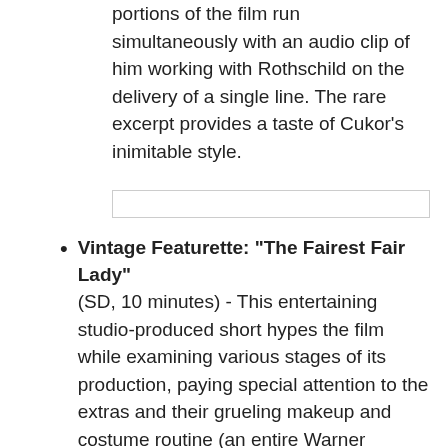portions of the film run simultaneously with an audio clip of him working with Rothschild on the delivery of a single line. The rare excerpt provides a taste of Cukor's inimitable style.
Vintage Featurette: "The Fairest Fair Lady" (SD, 10 minutes) - This entertaining studio-produced short hypes the film while examining various stages of its production, paying special attention to the extras and their grueling makeup and costume routine (an entire Warner soundstage was reserved for this assembly-line procedure). Glimpses of the editor, cinematographer, and various members of the technical crew at work are also included.